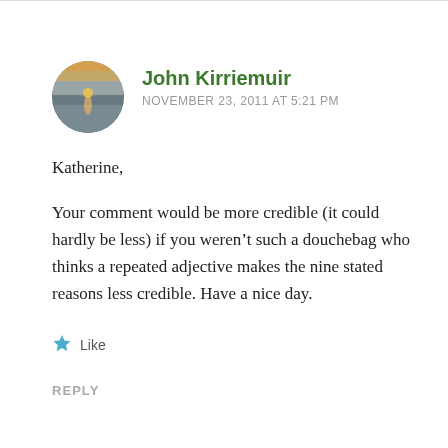[Figure (photo): Circular avatar photo showing a sunset over water with orange and grey tones]
John Kirriemuir
NOVEMBER 23, 2011 AT 5:21 PM
Katherine,
Your comment would be more credible (it could hardly be less) if you weren’t such a douchebag who thinks a repeated adjective makes the nine stated reasons less credible. Have a nice day.
Like
REPLY